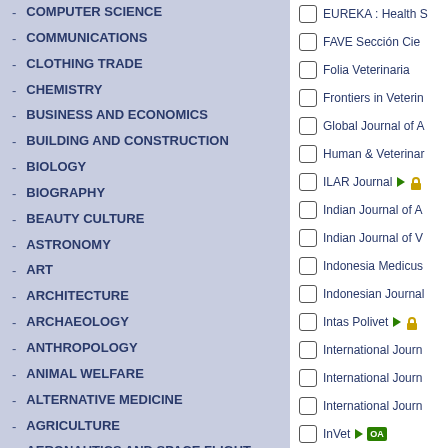- COMPUTER SCIENCE
- COMMUNICATIONS
- CLOTHING TRADE
- CHEMISTRY
- BUSINESS AND ECONOMICS
- BUILDING AND CONSTRUCTION
- BIOLOGY
- BIOGRAPHY
- BEAUTY CULTURE
- ASTRONOMY
- ART
- ARCHITECTURE
- ARCHAEOLOGY
- ANTHROPOLOGY
- ANIMAL WELFARE
- ALTERNATIVE MEDICINE
- AGRICULTURE
- AERONAUTICS AND SPACE FLIGHT
- ADVERTISING AND PUBLIC RELATIONS
EUREKA : Health S
FAVE Sección Cie
Folia Veterinaria
Frontiers in Veterin
Global Journal of A
Human & Veterinar
ILAR Journal
Indian Journal of A
Indian Journal of V
Indonesia Medicus
Indonesian Journal
Intas Polivet
International Journ
International Journ
International Journ
InVet
Iranian Journal of A
Iranian Journal of V
Iraqi Journal of Vet